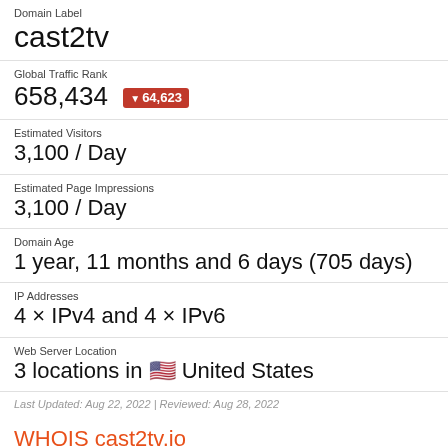Domain Label
cast2tv
Global Traffic Rank
658,434 ▼64,623
Estimated Visitors
3,100 / Day
Estimated Page Impressions
3,100 / Day
Domain Age
1 year, 11 months and 6 days (705 days)
IP Addresses
4 × IPv4 and 4 × IPv6
Web Server Location
3 locations in 🇺🇸 United States
Last Updated: Aug 22, 2022 | Reviewed: Aug 28, 2022
WHOIS cast2tv.io